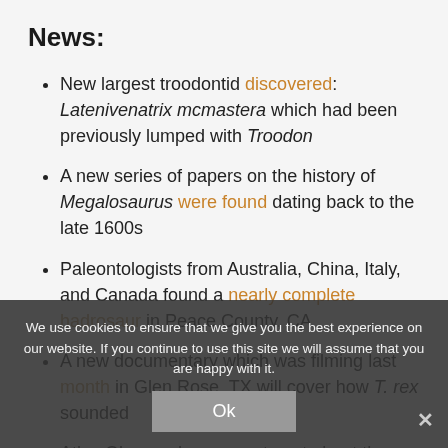News:
New largest troodontid discovered: Latenivenatrix mcmastera which had been previously lumped with Troodon
A new series of papers on the history of Megalosaurus were found dating back to the late 1600s
Paleontologists from Australia, China, Italy, and Canada found a nearly complete hadrosaur in Peace County, CA
A new documentary which was filming last month in Glen Rose, TX will cover how T. rex sounded
Atlas Obscura has a great post about the dinosaurs of roadside America
We use cookies to ensure that we give you the best experience on our website. If you continue to use this site we will assume that you are happy with it.